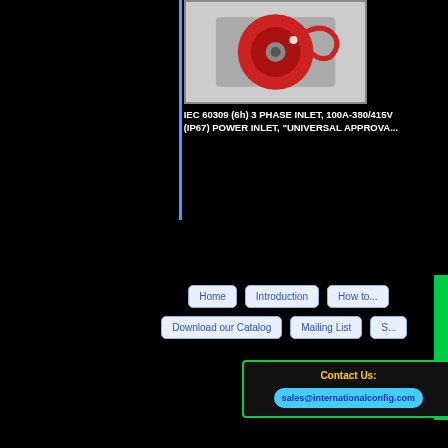[Figure (photo): Red IEC 60309 3-phase power inlet device mounted on a panel, showing cable/connector detail]
IEC 60309 (6h) 3 PHASE INLET, 100A-380/415V (IP67) POWER INLET, "UNIVERSAL APPROVA...
Home
Introduction
How to...
Download our Catalog
Mailing List
S...
Contact Us: sales@internationalconfig.com